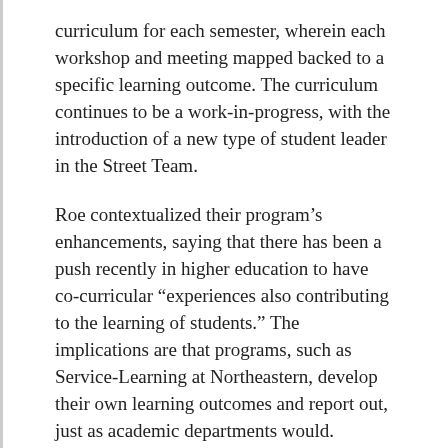curriculum for each semester, wherein each workshop and meeting mapped backed to a specific learning outcome. The curriculum continues to be a work-in-progress, with the introduction of a new type of student leader in the Street Team.
Roe contextualized their program’s enhancements, saying that there has been a push recently in higher education to have co-curricular “experiences also contributing to the learning of students.” The implications are that programs, such as Service-Learning at Northeastern, develop their own learning outcomes and report out, just as academic departments would.
“The conflict management one definitely relates to two of the learning outcomes,” Roe said, referencing a workshop that was facilitated by two S-LTMs at a recent meeting. “The idea of problem solving and how to use…